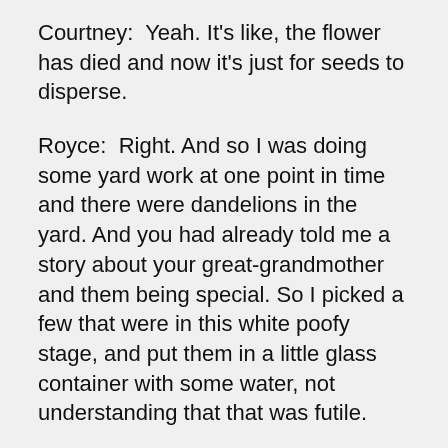Courtney:  Yeah. It's like, the flower has died and now it's just for seeds to disperse.
Royce:  Right. And so I was doing some yard work at one point in time and there were dandelions in the yard. And you had already told me a story about your great-grandmother and them being special. So I picked a few that were in this white poofy stage, and put them in a little glass container with some water, not understanding that that was futile.
Courtney:  It was the cutest thing in the entire world. When you walk in with this, like, plastic